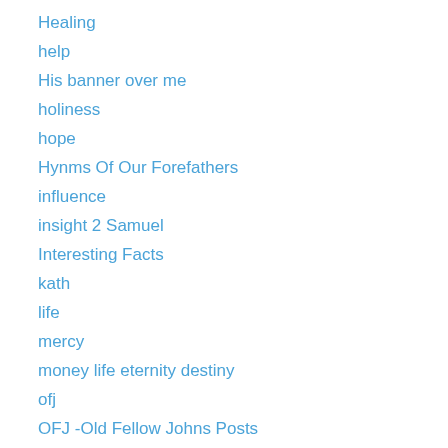Healing
help
His banner over me
holiness
hope
Hynms Of Our Forefathers
influence
insight 2 Samuel
Interesting Facts
kath
life
mercy
money life eternity destiny
ofj
OFJ -Old Fellow Johns Posts
peom
People Of Faith
Piont To Ponder
plans faith hope trust love worship
Podcasts